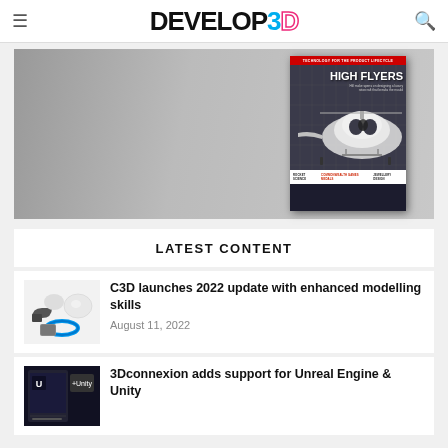DEVELOP3D
[Figure (photo): DEVELOP3D magazine cover showing a luxury helicopter with text HIGH FLYERS and tagline about designing a luxury rotorcraft that breaks the mould, on a grey background]
LATEST CONTENT
[Figure (photo): Thumbnail image of C3D modelling parts including grey and blue 3D shapes]
C3D launches 2022 update with enhanced modelling skills
August 11, 2022
[Figure (screenshot): Thumbnail showing 3Dconnexion software interface with Unreal Engine and Unity logos]
3Dconnexion adds support for Unreal Engine & Unity